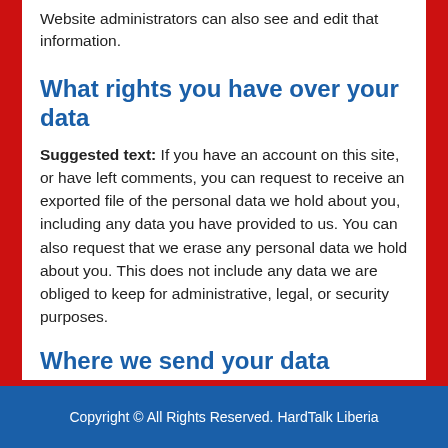Website administrators can also see and edit that information.
What rights you have over your data
Suggested text: If you have an account on this site, or have left comments, you can request to receive an exported file of the personal data we hold about you, including any data you have provided to us. You can also request that we erase any personal data we hold about you. This does not include any data we are obliged to keep for administrative, legal, or security purposes.
Where we send your data
Suggested text: Visitor comments may be checked through an automated spam detection service.
Copyright © All Rights Reserved. HardTalk Liberia